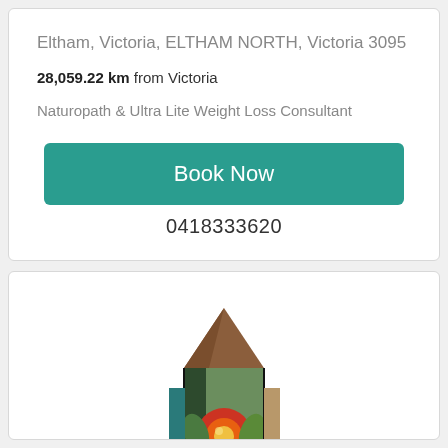Eltham, Victoria, ELTHAM NORTH, Victoria 3095
28,059.22 km from Victoria
Naturopath & Ultra Lite Weight Loss Consultant
Book Now
0418333620
[Figure (illustration): Colorful abstract illustration of a house or crystal shape with geometric patterns including red, green, brown, orange, and yellow colors on a white background.]